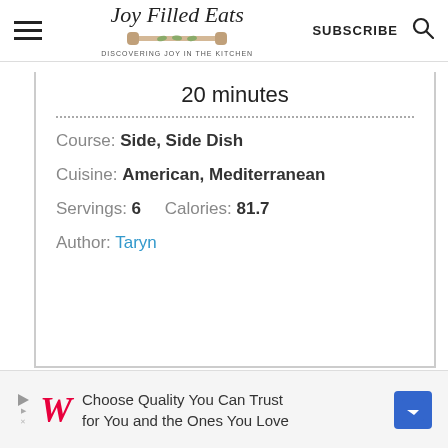Joy Filled Eats — DISCOVERING JOY IN THE KITCHEN — SUBSCRIBE
20 minutes
Course: Side, Side Dish
Cuisine: American, Mediterranean
Servings: 6    Calories: 81.7
Author: Taryn
[Figure (other): Walgreens advertisement: Choose Quality You Can Trust for You and the Ones You Love]